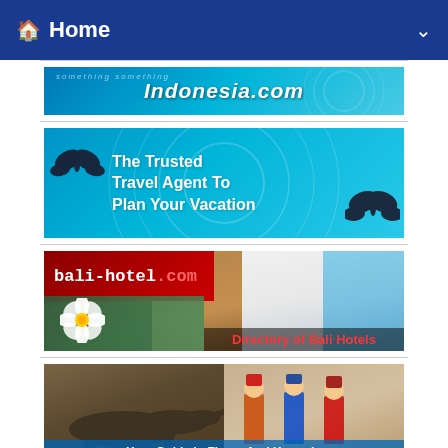Home
[Figure (screenshot): Indonesia.com banner advertisement with blue water/ocean background]
[Figure (advertisement): The Trusted Travel Agent To Plan Your Vacation — teal banner with butterfly decorations]
[Figure (advertisement): bali-hotel.com — Directory of Bali Hotels banner with hotel room photos and tropical flower]
[Figure (advertisement): Your Guide In Flores And Komodo — banner with Komodo dragon and traditional dancers]